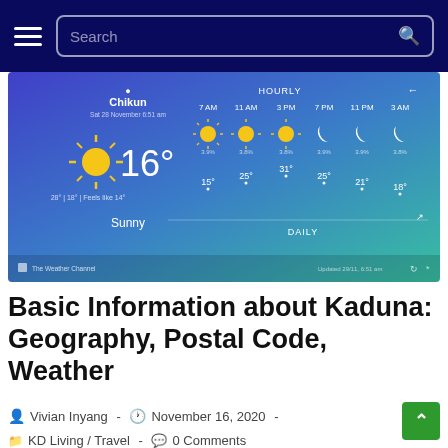Search
[Figure (screenshot): Weather app screenshot showing Chikun location, 16 degrees Sunny, hourly forecast with sun and moon icons, temperatures 15°, 25°, 31°, 25°, 21°, 18°, times 7AM 11AM 3PM 7PM 11PM 3AM, The Weather Channel branding]
Basic Information about Kaduna: Geography, Postal Code, Weather
Vivian Inyang · November 16, 2020 · KD Living / Travel · 0 Comments